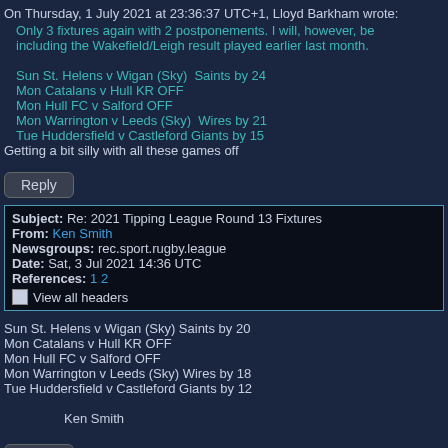On Thursday, 1 July 2021 at 23:36:37 UTC+1, Lloyd Barkham wrote:
Only 3 fixtures again with 2 postponements. I will, however, be including the Wakefield/Leigh result played earlier last month.

Sun St. Helens v Wigan (Sky)  Saints by 24
Mon Catalans v Hull KR OFF
Mon Hull FC v Salford OFF
Mon Warrington v Leeds (Sky)  Wires by 21
Tue Huddersfield v Castleford Giants by 15
Getting a bit silly with all these games off
Reply
Subject: Re: 2021 Tipping League Round 13 Fixtures
From: Ken Smith
Newsgroups: rec.sport.rugby.league
Date: Sat, 3 Jul 2021 14:36 UTC
References: 1 2
View all headers
Sun St. Helens v Wigan (Sky) Saints by 20
Mon Catalans v Hull KR OFF
Mon Hull FC v Salford OFF
Mon Warrington v Leeds (Sky) Wires by 18
Tue Huddersfield v Castleford Giants by 12

        Ken Smith
Reply